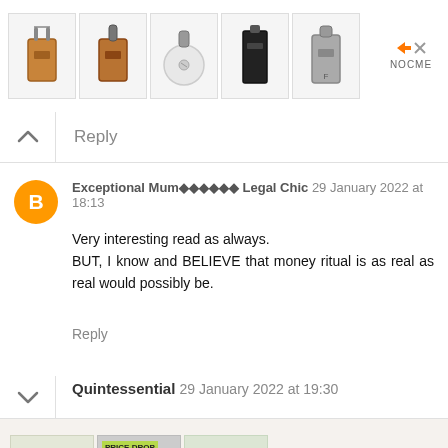[Figure (screenshot): Top advertisement banner showing five handbag/crossbody bag product images with navigation arrows and NOCME brand label]
Reply
Exceptional Mum◆◆◆◆◆◆ Legal Chic 29 January 2022 at 18:13
Very interesting read as always.
BUT, I know and BELIEVE that money ritual is as real as real would possibly be.
Reply
Quintessential 29 January 2022 at 19:30
[Figure (screenshot): Bottom advertisement banner showing decorative wreath, rolled blanket (PRICE DROP badge), and garland product images with Tiny Land brand label]